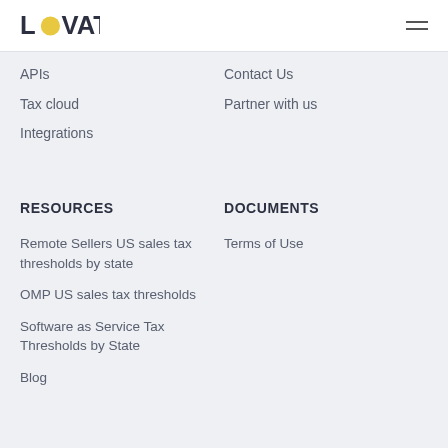LOVAT
APIs
Tax cloud
Integrations
Contact Us
Partner with us
RESOURCES
DOCUMENTS
Remote Sellers US sales tax thresholds by state
OMP US sales tax thresholds
Software as Service Tax Thresholds by State
Blog
Terms of Use